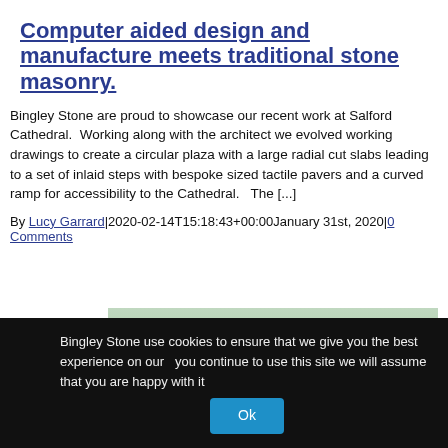Computer aided design and manufacture meets traditional stone masonry.
Bingley Stone are proud to showcase our recent work at Salford Cathedral.  Working along with the architect we evolved working drawings to create a circular plaza with a large radial cut slabs leading to a set of inlaid steps with bespoke sized tactile pavers and a curved ramp for accessibility to the Cathedral.   The [...]
By Lucy Garrard|2020-02-14T15:18:43+00:00January 31st, 2020|0 Comments
1.
2.
3.
[Figure (photo): Outdoor stone paving area with grass and garden in background]
Bingley Stone use cookies to ensure that we give you the best experience on our ... you continue to use this site we will assume that you are happy with it
Ok